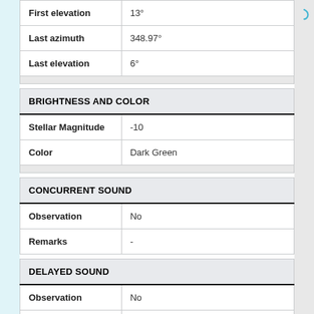| First elevation | 13° |
| Last azimuth | 348.97° |
| Last elevation | 6° |
| BRIGHTNESS AND COLOR |
| --- |
| Stellar Magnitude | -10 |
| Color | Dark Green |
| CONCURRENT SOUND |
| --- |
| Observation | No |
| Remarks | - |
| DELAYED SOUND |
| --- |
| Observation | No |
| Remarks | - |